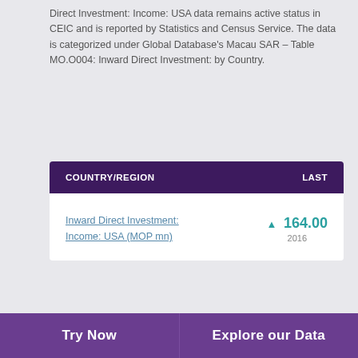Direct Investment: Income: USA data remains active status in CEIC and is reported by Statistics and Census Service. The data is categorized under Global Database's Macau SAR – Table MO.O004: Inward Direct Investment: by Country.
| COUNTRY/REGION | LAST |
| --- | --- |
| Inward Direct Investment: Income: USA (MOP mn) | ▲ 164.00
2016 |
View Macau SAR, China's Macau Inward Direct Investment: Income: USA from 2001 to 2016 in the chart:
[Figure (area-chart): Area chart showing Macau inward direct investment income from USA, with a peak of 7,721.000 around 2008, values of 5,376.000 and 5,256.000 also labeled]
Try Now   Explore our Data